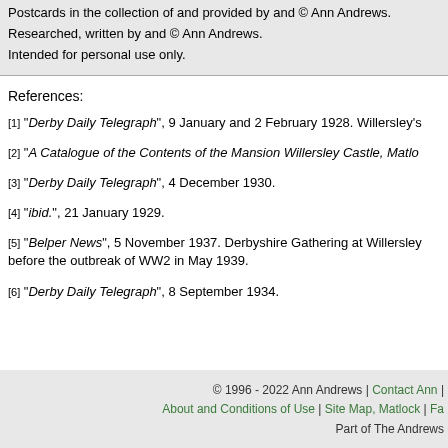Postcards in the collection of and provided by and © Ann Andrews. Researched, written by and © Ann Andrews. Intended for personal use only.
References:
[1] "Derby Daily Telegraph", 9 January and 2 February 1928. Willersley's
[2] "A Catalogue of the Contents of the Mansion Willersley Castle, Matloc
[3] "Derby Daily Telegraph", 4 December 1930.
[4] "ibid.", 21 January 1929.
[5] "Belper News", 5 November 1937. Derbyshire Gathering at Willersley before the outbreak of WW2 in May 1939.
[6] "Derby Daily Telegraph", 8 September 1934.
© 1996 - 2022 Ann Andrews | Contact Ann | About and Conditions of Use | Site Map, Matlock | F... Part of The Andrews